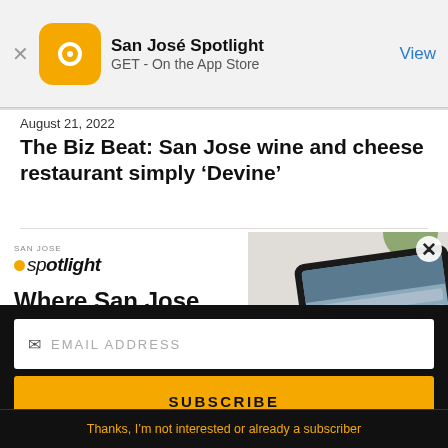San José Spotlight — GET - On the App Store — View
The Biz Beat: San Jose wine and cheese restaurant simply 'Devine'
August 21, 2022
[Figure (screenshot): San José Spotlight advertisement banner showing logo, headline 'Where San Jose locals start the day.' with tablet device image and sanjosespotlight.com URL]
EMAIL ADDRESS
SUBSCRIBE
Thanks, I'm not interested or already a subscriber